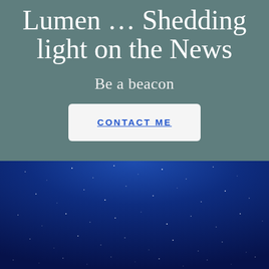Lumen … Shedding light on the News
Be a beacon
CONTACT ME
[Figure (photo): Night sky with stars, dark blue gradient background resembling a starry night scene]